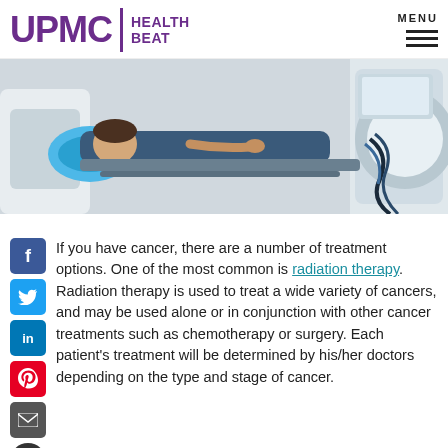UPMC | HEALTH BEAT    MENU
[Figure (photo): Patient lying on a radiation therapy machine table with a blue head cradle, being positioned for treatment inside a medical radiation/CT machine. Medical equipment and cables visible.]
If you have cancer, there are a number of treatment options. One of the most common is radiation therapy. Radiation therapy is used to treat a wide variety of cancers, and may be used alone or in conjunction with other cancer treatments such as chemotherapy or surgery. Each patient's treatment will be determined by his/her doctors depending on the type and stage of cancer.